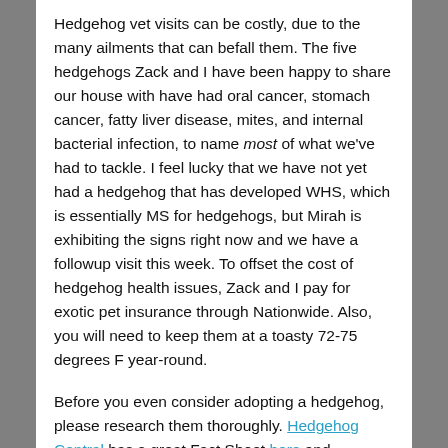Hedgehog vet visits can be costly, due to the many ailments that can befall them. The five hedgehogs Zack and I have been happy to share our house with have had oral cancer, stomach cancer, fatty liver disease, mites, and internal bacterial infection, to name most of what we've had to tackle. I feel lucky that we have not yet had a hedgehog that has developed WHS, which is essentially MS for hedgehogs, but Mirah is exhibiting the signs right now and we have a followup visit this week. To offset the cost of hedgehog health issues, Zack and I pay for exotic pet insurance through Nationwide. Also, you will need to keep them at a toasty 72-75 degrees F year-round.
Before you even consider adopting a hedgehog, please research them thoroughly. Hedgehog Central has a great Fact Sheet here and Hedgehog World has a great forum for asking any question about hedgehogs you can think of. They have great 'Before You Get a Hedgehog' information here. Do